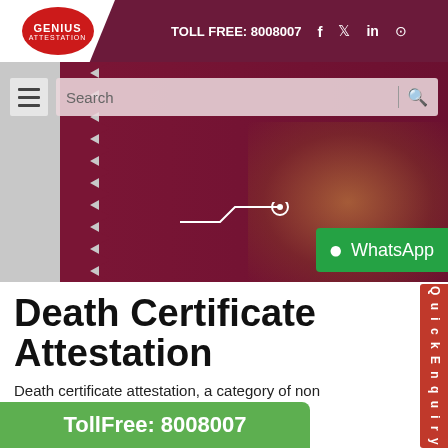TOLL FREE: 8008007
[Figure (screenshot): Website banner with Qatar flag background and city skyline, search bar, hamburger menu, WhatsApp button, and Genius Attestation logo]
Death Certificate Attestation
Death certificate attestation, a category of non attestation. An ocess which, will
TollFree: 8008007